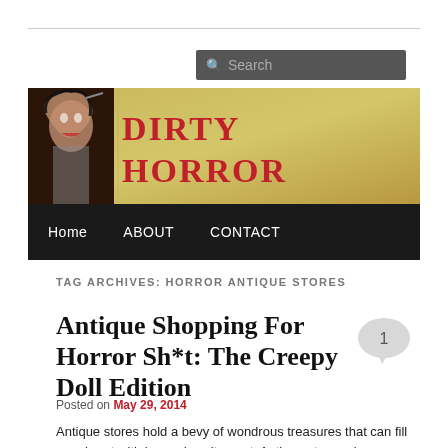[Figure (screenshot): Website header banner for 'Dirty Horror' blog with horror-themed imagery on the left and bold red title text on a golden background]
Home  ABOUT  CONTACT
TAG ARCHIVES: HORROR ANTIQUE STORES
Antique Shopping For Horror Sh*t: The Creepy Doll Edition
Posted on May 29, 2014
Antique stores hold a bevy of wondrous treasures that can fill your heart with joy and excitement. Antique stores also